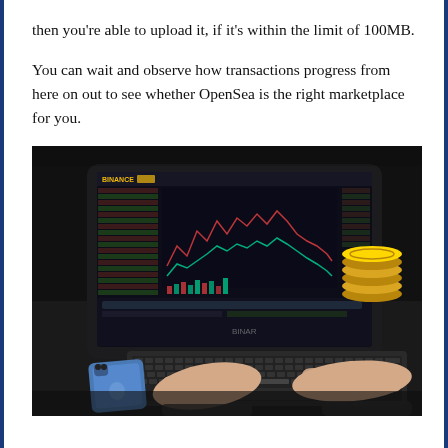then you're able to upload it, if it's within the limit of 100MB.
You can wait and observe how transactions progress from here on out to see whether OpenSea is the right marketplace for you.
[Figure (photo): Person typing on a laptop/tablet keyboard with a crypto trading chart (Binance) displayed on a tablet screen, with gold coins stacked to the right and a blue iPhone on the left, on a dark desk surface.]